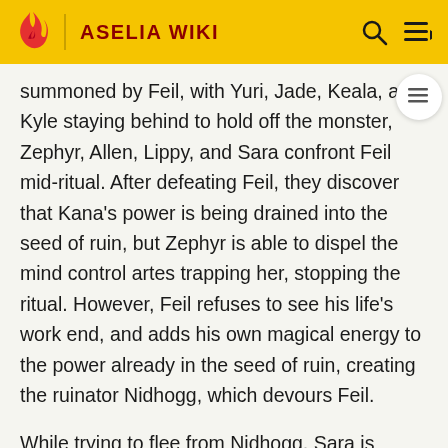ASELIA WIKI
summoned by Feil, with Yuri, Jade, Keala, and Kyle staying behind to hold off the monster, Zephyr, Allen, Lippy, and Sara confront Feil mid-ritual. After defeating Feil, they discover that Kana's power is being drained into the seed of ruin, but Zephyr is able to dispel the mind control artes trapping her, stopping the ritual. However, Feil refuses to see his life's work end, and adds his own magical energy to the power already in the seed of ruin, creating the ruinator Nidhogg, which devours Feil.
While trying to flee from Nidhogg, Sara is gravely injured. Allen and Lippy cast an intricate healing arte on Sara that uses parts of their own souls to heal another, while Zephyr distracts Nidhogg and Kana enacts a binding arte using the power of the goddesses. The healing arte is